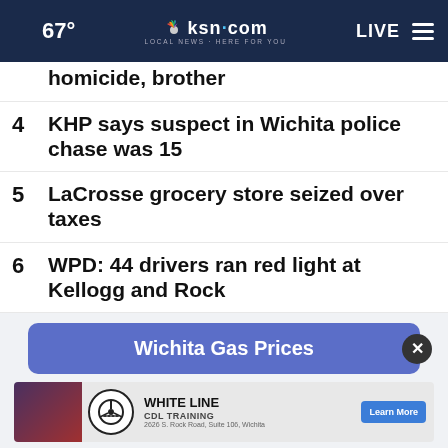67° | ksn.com LOCAL NEWS HERE FOR YOU | LIVE
homicide, brother
4 KHP says suspect in Wichita police chase was 15
5 LaCrosse grocery store seized over taxes
6 WPD: 44 drivers ran red light at Kellogg and Rock
[Figure (other): Wichita Gas Prices banner widget with close button]
[Figure (other): White Line CDL Training advertisement banner with steering wheel logo and Learn More button, 2626 S. Rock Road, Suite 106, Wichita]